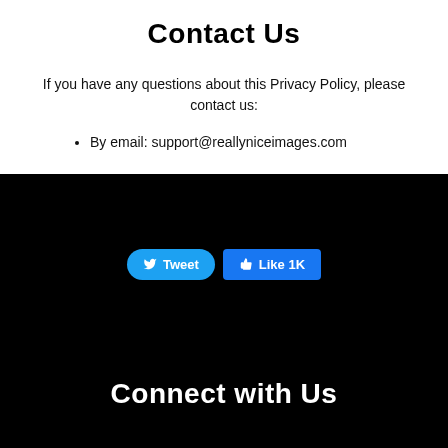Contact Us
If you have any questions about this Privacy Policy, please contact us:
By email: support@reallyniceimages.com
[Figure (screenshot): Social media buttons: Tweet (Twitter, blue rounded) and Like 1K (Facebook, blue)]
Connect with Us
[Figure (illustration): Two circular social media icons partially visible at bottom of page]